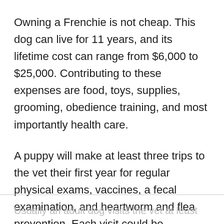Owning a Frenchie is not cheap. This dog can live for 11 years, and its lifetime cost can range from $6,000 to $25,000. Contributing to these expenses are food, toys, supplies, grooming, obedience training, and most importantly health care.
A puppy will make at least three trips to the vet their first year for regular physical exams, vaccines, a fecal examination, and heartworm and flea prevention. Each visit could be $65-$170.
Usually an adult dog visits the vet at least